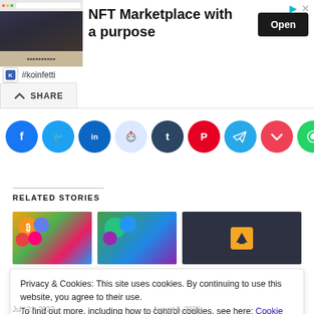[Figure (screenshot): Advertisement banner for NFT Marketplace with a purpose by #koinfetti, with Open button]
[Figure (screenshot): Share buttons row: Facebook, Twitter, LinkedIn, Reddit, Tumblr, Pinterest, Telegram, Pocket, WhatsApp, More]
RELATED STORIES
[Figure (screenshot): Three related story thumbnail images]
Privacy & Cookies: This site uses cookies. By continuing to use this website, you agree to their use.
To find out more, including how to control cookies, see here: Cookie Policy
July 21, 2022
August 5, 2022